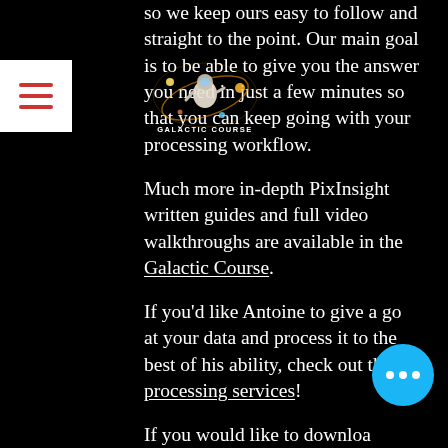[Figure (logo): Galactic Course logo - astronaut with orbiting planets and text 'GALACTIC COURSE']
so we keep ours easy to follow and straight to the point. Our main goal is to be able to give you the answer you need in just a few minutes so that you can keep going with your processing workflow.
Much more in-depth PixInsight written guides and full video walkthroughs are available in the Galactic Course.
If you'd like Antoine to give a go at your data and process it to the best of his ability, check out the processing services!
If you would like to download a PDF version of our own processing